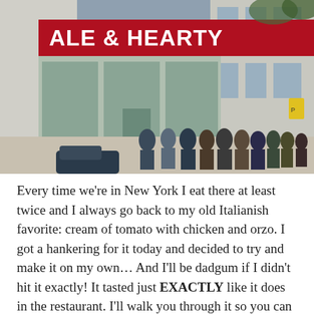[Figure (photo): Street-level photograph of a Hale & Hearty soup restaurant storefront with a red awning reading 'HALE & HEARTY'. A long queue of people lines the sidewalk outside the restaurant entrance. The building is in an urban setting.]
Every time we're in New York I eat there at least twice and I always go back to my old Italianish favorite: cream of tomato with chicken and orzo. I got a hankering for it today and decided to try and make it on my own… And I'll be dadgum if I didn't hit it exactly! It tasted just EXACTLY like it does in the restaurant. I'll walk you through it so you can try it for yourself.